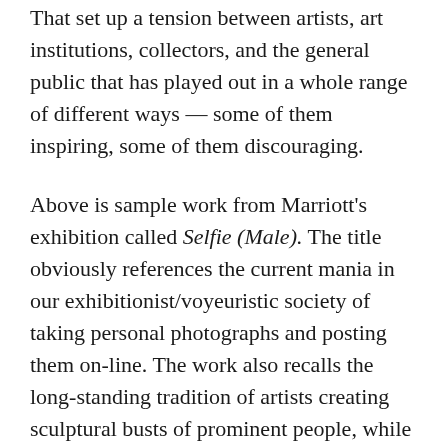That set up a tension between artists, art institutions, collectors, and the general public that has played out in a whole range of different ways — some of them inspiring, some of them discouraging.
Above is sample work from Marriott's exhibition called Selfie (Male). The title obviously references the current mania in our exhibitionist/voyeuristic society of taking personal photographs and posting them on-line. The work also recalls the long-standing tradition of artists creating sculptural busts of prominent people, while the patinated bronze surface and abstracted face recall modernist sculpture.
It's that kind of blend of traditional, modernist